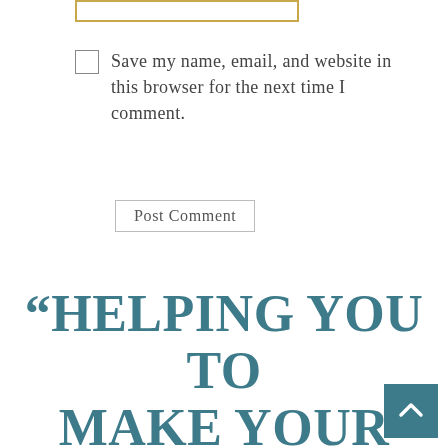[Figure (other): Yellow-bordered input text box at top of page]
Save my name, email, and website in this browser for the next time I comment.
Post Comment
“HELPING YOU TO MAKE YOUR PLAN WORK”
[Figure (other): Teal/blue scroll-to-top button with upward chevron arrow in bottom right corner]